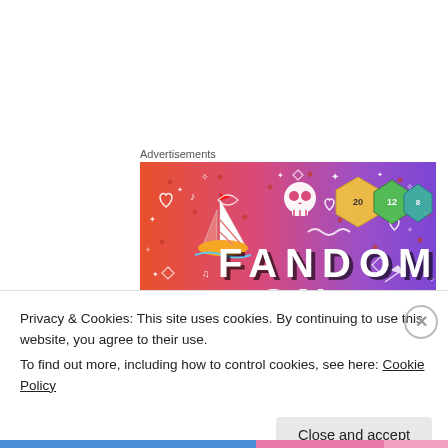Advertisements
[Figure (illustration): Tumblr advertisement banner with gradient background from orange to purple, featuring colorful fandom-themed icons (sailboat, skull, dice, musical notes, hearts, stars) and large bold text reading 'FANDOM ON tumblr']
Privacy & Cookies: This site uses cookies. By continuing to use this website, you agree to their use.
To find out more, including how to control cookies, see here: Cookie Policy
Close and accept